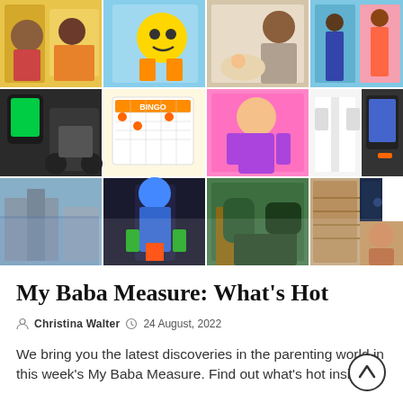[Figure (photo): Collage of baby and children products including strollers, toys, clothing, baby accessories, smartwatches, and parenting lifestyle images]
My Baba Measure: What's Hot
Christina Walter   24 August, 2022
We bring you the latest discoveries in the parenting world in this week's My Baba Measure. Find out what's hot inside...